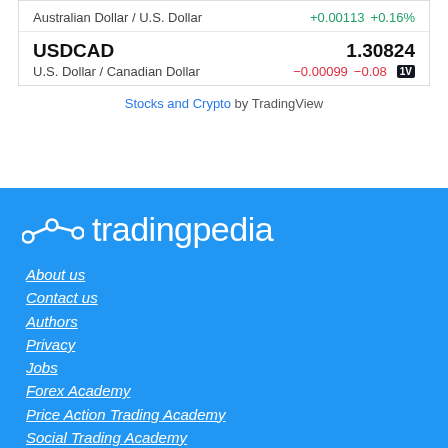| Pair | Price | Change | Change% |
| --- | --- | --- | --- |
| Australian Dollar / U.S. Dollar |  | +0.00113 | +0.16% |
| USDCAD | 1.30824 |  |  |
| U.S. Dollar / Canadian Dollar |  | −0.00099 | −0.08% |
Stocks and Crypto by TradingView
[Figure (logo): Tradingpedia logo with icon on blue background]
About us
Contact us
Authors
Privacy
Jobs
Forex Academy
Price Action Trading Academy
Social Trading Academy
Day Trading Academy
Forex Guide
Trading Strategies Guide